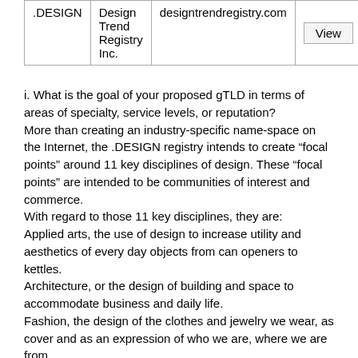|  |  |  |  |
| --- | --- | --- | --- |
| .DESIGN | Design Trend Registry Inc. | designtrendregistry.com | View |
i. What is the goal of your proposed gTLD in terms of areas of specialty, service levels, or reputation?
More than creating an industry-specific name-space on the Internet, the .DESIGN registry intends to create “focal points” around 11 key disciplines of design. These “focal points” are intended to be communities of interest and commerce.
With regard to those 11 key disciplines, they are:
Applied arts, the use of design to increase utility and aesthetics of every day objects from can openers to kettles.
Architecture, or the design of building and space to accommodate business and daily life.
Fashion, the design of the clothes and jewelry we wear, as cover and as an expression of who we are, where we are from.
Interactive Gaming, an increasingly important category of design that is more than entertainment, it is a key to new forms of education and training.
Graphic Arts, are the painting, photography and other personal expressions that are now also raw material for the computer. The outputs are not just art, but iconography.
Engineering, whether the design of bridges, buildings or pipelines, society depends on engineered infrastructure as a platform for progress.